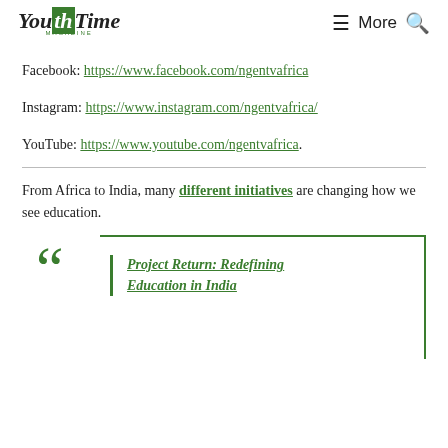YouthTime Magazine — More
Facebook: https://www.facebook.com/ngentvafrica
Instagram: https://www.instagram.com/ngentvafrica/
YouTube: https://www.youtube.com/ngentvafrica.
From Africa to India, many different initiatives are changing how we see education.
Project Return: Redefining Education in India